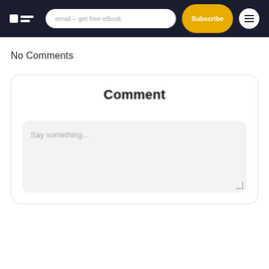PF | email - get free eBook | Subscribe | ☰
No Comments
Comment
Say something...